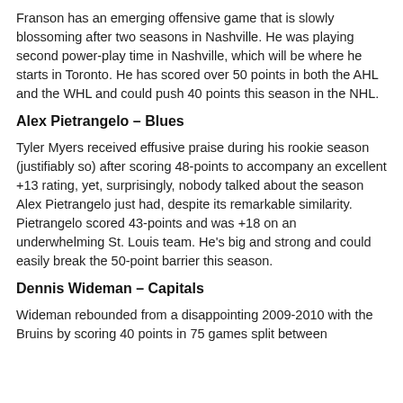Franson has an emerging offensive game that is slowly blossoming after two seasons in Nashville. He was playing second power-play time in Nashville, which will be where he starts in Toronto. He has scored over 50 points in both the AHL and the WHL and could push 40 points this season in the NHL.
Alex Pietrangelo – Blues
Tyler Myers received effusive praise during his rookie season (justifiably so) after scoring 48-points to accompany an excellent +13 rating, yet, surprisingly, nobody talked about the season Alex Pietrangelo just had, despite its remarkable similarity. Pietrangelo scored 43-points and was +18 on an underwhelming St. Louis team. He's big and strong and could easily break the 50-point barrier this season.
Dennis Wideman – Capitals
Wideman rebounded from a disappointing 2009-2010 with the Bruins by scoring 40 points in 75 games split between